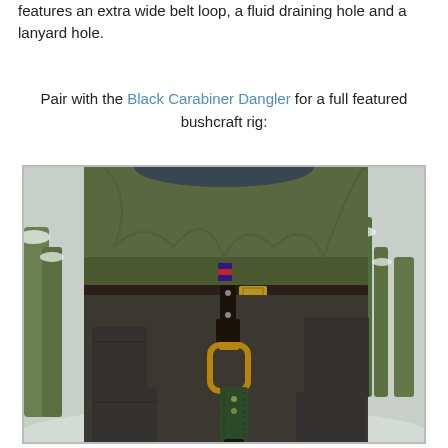features an extra wide belt loop, a fluid draining hole and a lanyard hole.
Pair with the Black Carabiner Dangler for a full featured bushcraft rig:
[Figure (photo): Outdoor photo showing a person wearing dark cargo pants with a leather knife sheath attached via a carabiner dangler to their belt. The person is wearing an olive green jacket. The background shows snow-covered trees. The knife sheath is dark green leather, and a bronze/gold carabiner is visible connecting the sheath to the belt loop.]